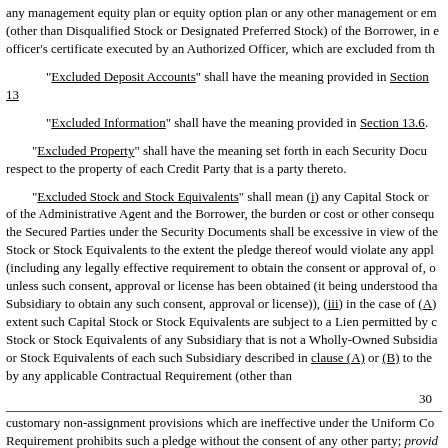any management equity plan or equity option plan or any other management or em (other than Disqualified Stock or Designated Preferred Stock) of the Borrower, in e officer's certificate executed by an Authorized Officer, which are excluded from th
"Excluded Deposit Accounts" shall have the meaning provided in Section 13
"Excluded Information" shall have the meaning provided in Section 13.6.
"Excluded Property" shall have the meaning set forth in each Security Docu respect to the property of each Credit Party that is a party thereto.
"Excluded Stock and Stock Equivalents" shall mean (i) any Capital Stock or of the Administrative Agent and the Borrower, the burden or cost or other consequ the Secured Parties under the Security Documents shall be excessive in view of the Stock or Stock Equivalents to the extent the pledge thereof would violate any appl (including any legally effective requirement to obtain the consent or approval of, o unless such consent, approval or license has been obtained (it being understood tha Subsidiary to obtain any such consent, approval or license)), (iii) in the case of (A) extent such Capital Stock or Stock Equivalents are subject to a Lien permitted by c Stock or Stock Equivalents of any Subsidiary that is not a Wholly-Owned Subsidia or Stock Equivalents of each such Subsidiary described in clause (A) or (B) to the by any applicable Contractual Requirement (other than
30
customary non-assignment provisions which are ineffective under the Uniform Co Requirement prohibits such a pledge without the consent of any other party; provid Credit Party or Wholly-Owned Subsidiary or (v) consent has been obtained to cons